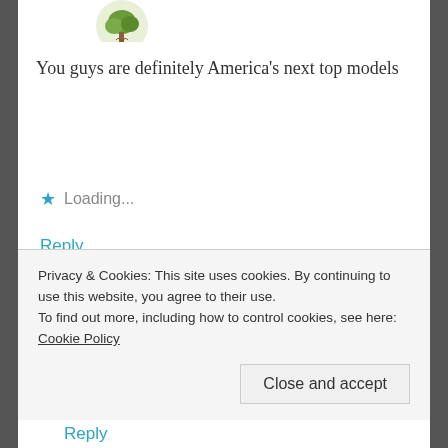[Figure (illustration): Round avatar icon with a tree illustration on a light background, partially visible at top]
You guys are definitely America's next top models
★ Loading...
Reply
[Figure (photo): Round avatar photo of two dogs (one white, one dark) sitting together]
Tails Around the Ranch
FEBRUARY 5, 2018 AT 10:20 AM
Privacy & Cookies: This site uses cookies. By continuing to use this website, you agree to their use.
To find out more, including how to control cookies, see here: Cookie Policy
Close and accept
Reply